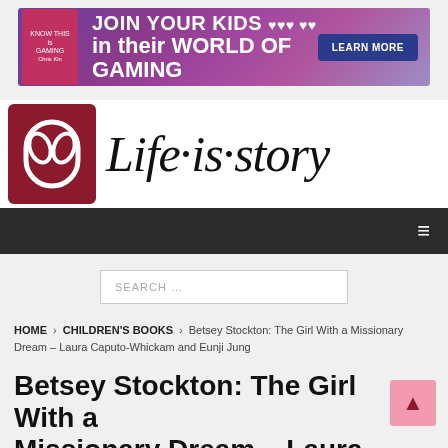[Figure (screenshot): Advertisement banner: JOIN YOUR KIDS in their WORLD OF GAMING with LEARN MORE button]
[Figure (logo): Life·is·story website logo with dark red icon and serif logotype]
Navigation bar with hamburger menu
SEARCH …
HOME > CHILDREN'S BOOKS > Betsey Stockton: The Girl With a Missionary Dream – Laura Caputo-Whickam and Eunji Jung
Betsey Stockton: The Girl With a Missionary Dream – Laura